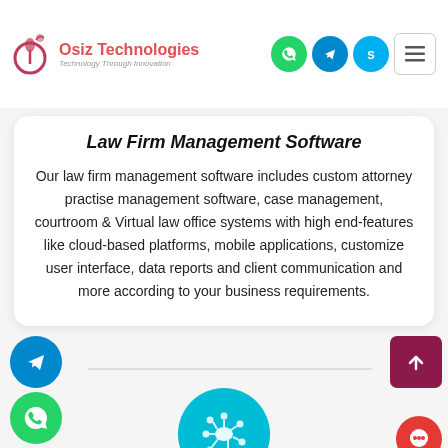[Figure (logo): Osiz Technologies logo with tagline 'Technology Through Innovation']
[Figure (infographic): Header icons: WhatsApp (green circle), Telegram (blue circle), Skype (sky blue circle), and hamburger menu button]
Law Firm Management Software
Our law firm management software includes custom attorney practise management software, case management, courtroom & Virtual law office systems with high end-features like cloud-based platforms, mobile applications, customize user interface, data reports and client communication and more according to your business requirements.
[Figure (infographic): Telegram icon - paper plane on blue circle, left side]
[Figure (infographic): WhatsApp icon - phone on green circle, left side]
[Figure (infographic): Back to top button - up arrow on dark red/maroon square]
[Figure (infographic): Network/cloud icon on teal circle at bottom center]
[Figure (infographic): Chat/support icon on red circle at bottom right]